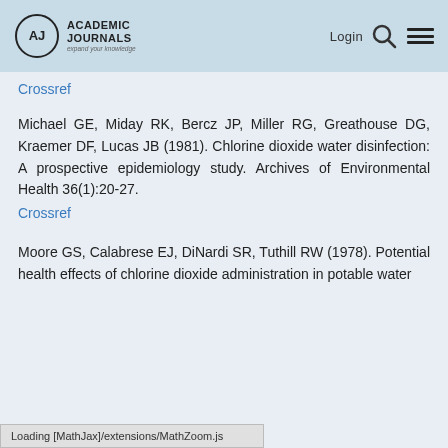Academic Journals — Login
Crossref
Michael GE, Miday RK, Bercz JP, Miller RG, Greathouse DG, Kraemer DF, Lucas JB (1981). Chlorine dioxide water disinfection: A prospective epidemiology study. Archives of Environmental Health 36(1):20–27.
Crossref
Moore GS, Calabrese EJ, DiNardi SR, Tuthill RW (1978). Potential health effects of chlorine dioxide administration in potable water
Loading [MathJax]/extensions/MathZoom.js